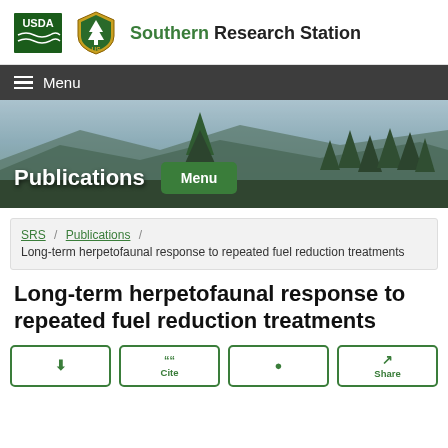USDA Southern Research Station
Menu
[Figure (photo): Mountain forest landscape with evergreen trees and misty ridgelines, hero banner image]
Publications
SRS / Publications / Long-term herpetofaunal response to repeated fuel reduction treatments
Long-term herpetofaunal response to repeated fuel reduction treatments
Cite  Share